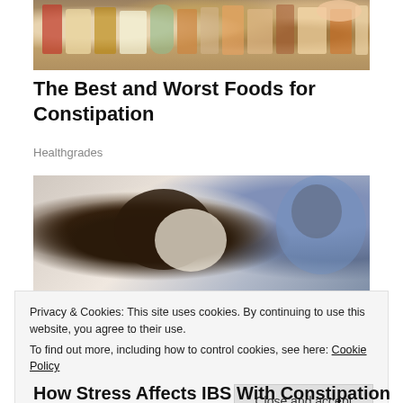[Figure (photo): Photo of a refrigerator filled with canned goods, jars, and packaged foods, seen from inside with a hand reaching in]
The Best and Worst Foods for Constipation
Healthgrades
[Figure (photo): Photo of a person bent over in apparent discomfort, wearing a white sleeveless shirt, with another person blurred in the background]
Privacy & Cookies: This site uses cookies. By continuing to use this website, you agree to their use.
To find out more, including how to control cookies, see here: Cookie Policy
How Stress Affects IBS With Constipation